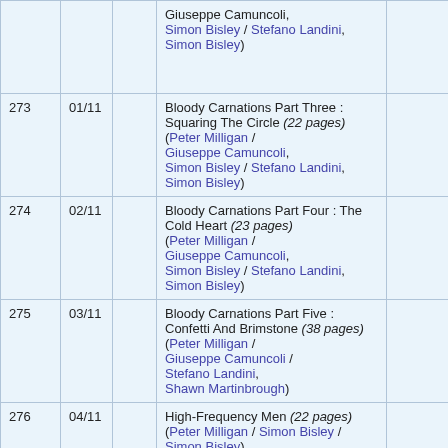| # | Date |  | Title / Credits |  |
| --- | --- | --- | --- | --- |
|  |  |  | Giuseppe Camuncoli,
Simon Bisley / Stefano Landini,
Simon Bisley) |  |
| 273 | 01/11 |  | Bloody Carnations Part Three : Squaring The Circle (22 pages)
(Peter Milligan / Giuseppe Camuncoli,
Simon Bisley / Stefano Landini,
Simon Bisley) |  |
| 274 | 02/11 |  | Bloody Carnations Part Four : The Cold Heart (23 pages)
(Peter Milligan / Giuseppe Camuncoli,
Simon Bisley / Stefano Landini,
Simon Bisley) |  |
| 275 | 03/11 |  | Bloody Carnations Part Five : Confetti And Brimstone (38 pages)
(Peter Milligan / Giuseppe Camuncoli / Stefano Landini,
Shawn Martinbrough) |  |
| 276 | 04/11 |  | High-Frequency Men (22 pages)
(Peter Milligan / Simon Bisley / Simon Bisley) |  |
| 277 | 05/11 |  | Phantom Pains Part One : John Thumb (20 pages) |  |